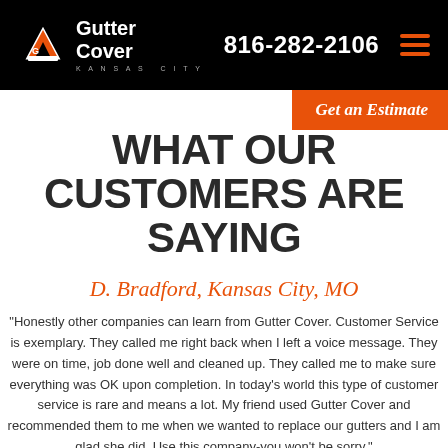[Figure (logo): Gutter Cover Kansas City logo with phone number 816-282-2106 and hamburger menu on black header bar]
WHAT OUR CUSTOMERS ARE SAYING
D. Bradford, Kansas City, MO
“Honestly other companies can learn from Gutter Cover. Customer Service is exemplary. They called me right back when I left a voice message. They were on time, job done well and cleaned up. They called me to make sure everything was OK upon completion. In today’s world this type of customer service is rare and means a lot. My friend used Gutter Cover and recommended them to me when we wanted to replace our gutters and I am glad she did. Use this company-you won’t be sorry.”